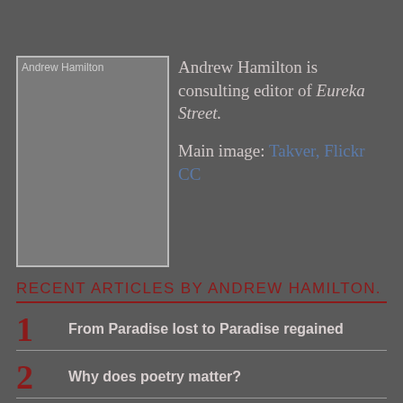[Figure (photo): Author photo placeholder for Andrew Hamilton]
Andrew Hamilton is consulting editor of Eureka Street.

Main image: Takver, Flickr CC
RECENT ARTICLES BY ANDREW HAMILTON.
1  From Paradise lost to Paradise regained
2  Why does poetry matter?
3  The constant remaking of a nation